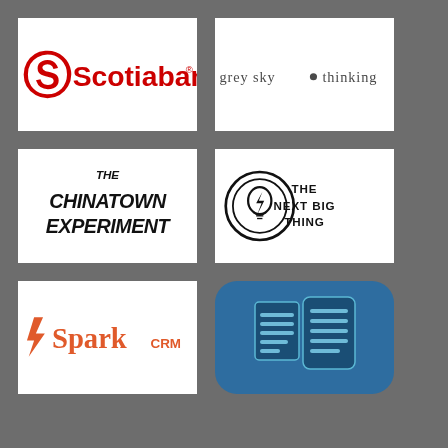[Figure (logo): Scotiabank logo with red S symbol and red wordmark]
[Figure (logo): grey sky thinking logo in dark grey text with bullet separator]
[Figure (logo): The Chinatown Experiment logo in black brush-style font]
[Figure (logo): The Next Big Thing logo with lightbulb/circle icon and bold text]
[Figure (logo): Spark CRM logo with orange lightning bolt and wordmark]
[Figure (illustration): App icon with blue rounded rectangle background showing stylized books/tablet graphic in blue and white]